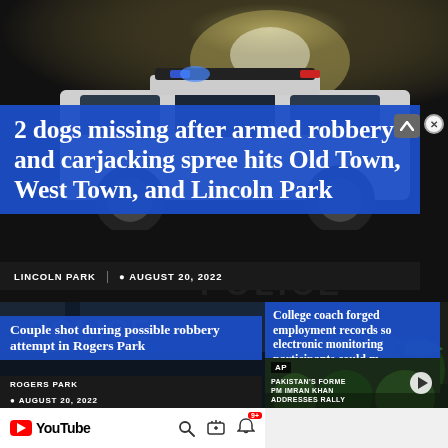[Figure (photo): Nighttime photo of a police vehicle, dark background]
2 dogs missing after armed robbery and carjacking spree hits Old Town, West Town, and Lincoln Park
LINCOLN PARK | AUGUST 20, 2022
[Figure (photo): Police officer in dark uniform, Rogers Park story thumbnail]
Couple shot during possible robbery attempt in Rogers Park
ROGERS PARK
AUGUST 20, 2022
[Figure (photo): AP video thumbnail - crowd waving flags, Pakistan's Former PM Imran Khan Addresses Rally]
College coach forged employment records so electronic monitoring participants could m
PAKISTAN'S FORMER PM IMRAN KHAN ADDRESSES RALLY
AP
YouTube